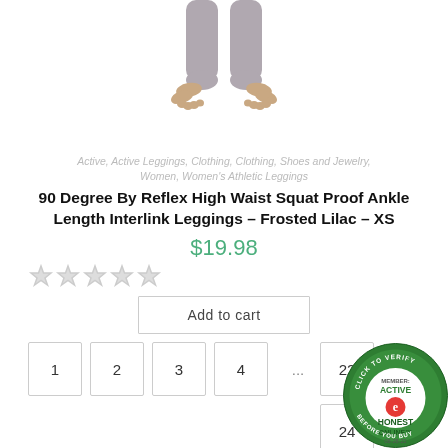[Figure (photo): Cropped photo showing bare feet and ankles of a person wearing gray athletic leggings, viewed from the front against a white background.]
Active, Active Leggings, Clothing, Clothing, Shoes and Jewelry, Women, Women's Athletic Leggings
90 Degree By Reflex High Waist Squat Proof Ankle Length Interlink Leggings – Frosted Lilac – XS
$19.98
[Figure (other): Five empty (gray) star rating icons in a row]
Add to cart
1  2  3  4  ...  22  24
[Figure (logo): Honest Online badge — green circular seal reading CLICK TO VERIFY, MEMBER: ACTIVE, HONEST e ONLINE TM, 08-28-22]